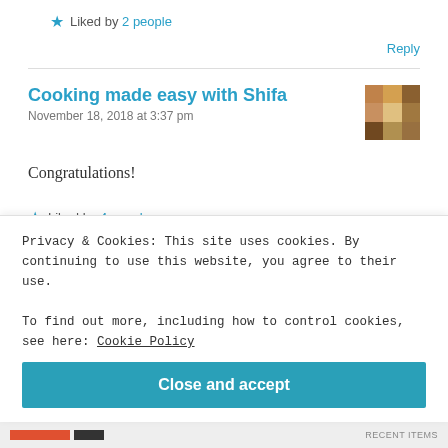★ Liked by 2 people
Reply
Cooking made easy with Shifa
November 18, 2018 at 3:37 pm
Congratulations!
★ Liked by 4 people
Privacy & Cookies: This site uses cookies. By continuing to use this website, you agree to their use.
To find out more, including how to control cookies, see here: Cookie Policy
Close and accept